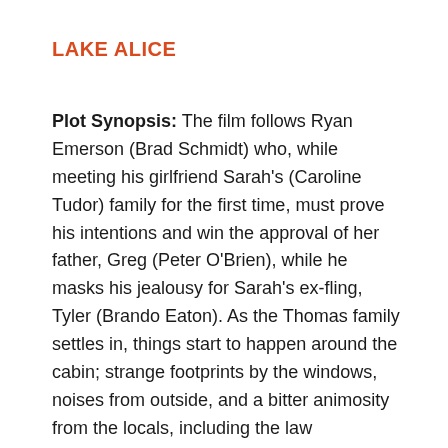LAKE ALICE
Plot Synopsis: The film follows Ryan Emerson (Brad Schmidt) who, while meeting his girlfriend Sarah's (Caroline Tudor) family for the first time, must prove his intentions and win the approval of her father, Greg (Peter O'Brien), while he masks his jealousy for Sarah's ex-fling, Tyler (Brando Eaton). As the Thomas family settles in, things start to happen around the cabin; strange footprints by the windows, noises from outside, and a bitter animosity from the locals, including the law enforcement. As a blizzard descends on Lake Alice, so does the evil from behind the camera...